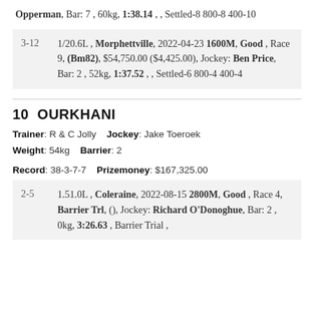Opperman, Bar: 7 , 60kg, 1:38.14 , , Settled-8 800-8 400-10
| Position | Details |
| --- | --- |
| 3-12 | 1/20.6L , Morphettville, 2022-04-23 1600M, Good , Race 9, (Bm82), $54,750.00 ($4,425.00), Jockey: Ben Price, Bar: 2 , 52kg, 1:37.52 , , Settled-6 800-4 400-4 |
10  OURKHANI
Trainer: R & C Jolly   Jockey: Jake Toeroek
Weight: 54kg   Barrier: 2
Record: 38-3-7-7   Prizemoney: $167,325.00
| Position | Details |
| --- | --- |
| 2-5 | 1.51.0L , Coleraine, 2022-08-15 2800M, Good , Race 4, Barrier Trl, (), Jockey: Richard O'Donoghue, Bar: 2 , 0kg, 3:26.63 , Barrier Trial , |